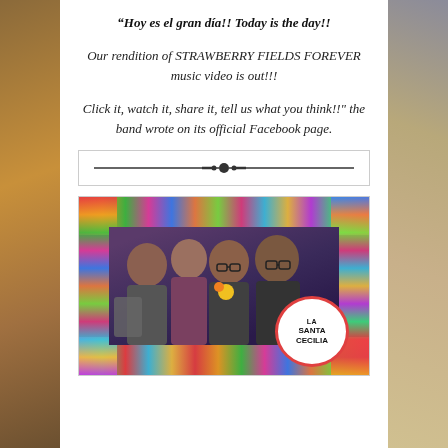“Hoy es el gran día!! Today is the day!!
Our rendition of STRAWBERRY FIELDS FOREVER music video is out!!!
Click it, watch it, share it, tell us what you think!!” the band wrote on its official Facebook page.
[Figure (illustration): Decorative horizontal divider line with ornamental center element]
[Figure (photo): Group photo of four band members (La Santa Cecilia) posing in front of a colorful floral backdrop with a round La Santa Cecilia sign in the foreground]